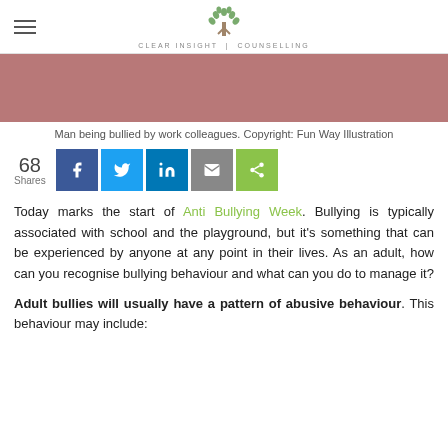Clear Insight Counselling
[Figure (photo): Reddish-brown hero image (partial view of man being bullied illustration)]
Man being bullied by work colleagues. Copyright: Fun Way Illustration
[Figure (infographic): Social share bar showing 68 Shares with Facebook, Twitter, LinkedIn, Email, and share buttons]
Today marks the start of Anti Bullying Week. Bullying is typically associated with school and the playground, but it's something that can be experienced by anyone at any point in their lives. As an adult, how can you recognise bullying behaviour and what can you do to manage it?
Adult bullies will usually have a pattern of abusive behaviour. This behaviour may include: